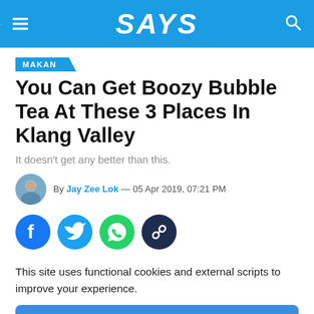SAYS
MAKAN
You Can Get Boozy Bubble Tea At These 3 Places In Klang Valley
It doesn't get any better than this.
By Jay Zee Lok — 05 Apr 2019, 07:21 PM
[Figure (other): Social sharing icons: Facebook, Twitter, WhatsApp, Link]
This site uses functional cookies and external scripts to improve your experience.
Accept